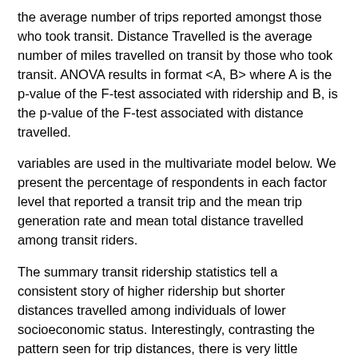the average number of trips reported amongst those who took transit. Distance Travelled is the average number of miles travelled on transit by those who took transit. ANOVA results in format <A, B> where A is the p-value of the F-test associated with ridership and B, is the p-value of the F-test associated with distance travelled.
variables are used in the multivariate model below. We present the percentage of respondents in each factor level that reported a transit trip and the mean trip generation rate and mean total distance travelled among transit riders.
The summary transit ridership statistics tell a consistent story of higher ridership but shorter distances travelled among individuals of lower socioeconomic status. Interestingly, contrasting the pattern seen for trip distances, there is very little variation in numbers of trips generated per transit rider. Looking at socioeconomic status, compared to individuals in high-income households, individuals in households earning less than $35,000 per year were more than twice as likely to ride transit, but had